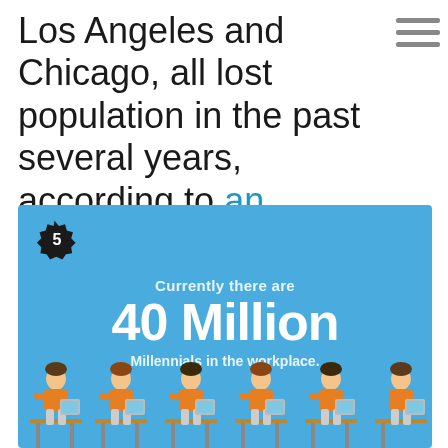Los Angeles and Chicago, all lost population in the past several years, according to an analysis by William Frey, a demographer at the Brookings Institution.
[Figure (infographic): Blue infographic panel with badge number 5, text 'Currently there are 40 Million Millennials in the workplace.' and illustrated figures of people working at desks/computers along the bottom.]